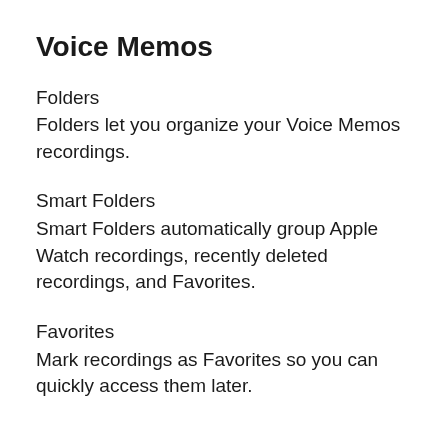Voice Memos
Folders
Folders let you organize your Voice Memos recordings.
Smart Folders
Smart Folders automatically group Apple Watch recordings, recently deleted recordings, and Favorites.
Favorites
Mark recordings as Favorites so you can quickly access them later.